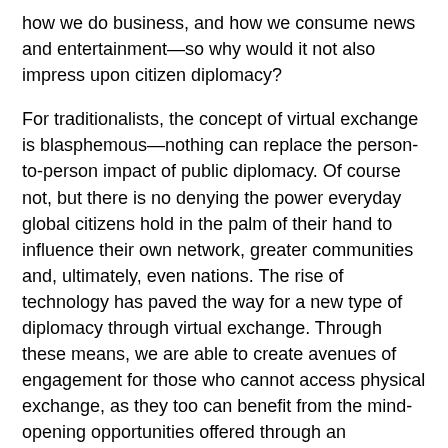how we do business, and how we consume news and entertainment—so why would it not also impress upon citizen diplomacy?
For traditionalists, the concept of virtual exchange is blasphemous—nothing can replace the person-to-person impact of public diplomacy. Of course not, but there is no denying the power everyday global citizens hold in the palm of their hand to influence their own network, greater communities and, ultimately, even nations. The rise of technology has paved the way for a new type of diplomacy through virtual exchange. Through these means, we are able to create avenues of engagement for those who cannot access physical exchange, as they too can benefit from the mind-opening opportunities offered through an exchange experience and have much to contribute to the experience of others as well.
Virtual exchange is changing the how and who of exchange and may well prove itself to be a viable extension of public diplomacy and a new means of building and exerting soft